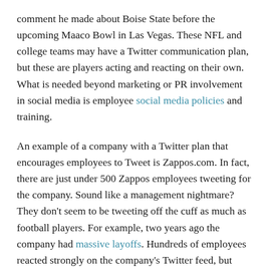comment he made about Boise State before the upcoming Maaco Bowl in Las Vegas. These NFL and college teams may have a Twitter communication plan, but these are players acting and reacting on their own. What is needed beyond marketing or PR involvement in social media is employee social media policies and training.
An example of a company with a Twitter plan that encourages employees to Tweet is Zappos.com. In fact, there are just under 500 Zappos employees tweeting for the company. Sound like a management nightmare? They don't seem to be tweeting off the cuff as much as football players. For example, two years ago the company had massive layoffs. Hundreds of employees reacted strongly on the company's Twitter feed, but instead of a PR...